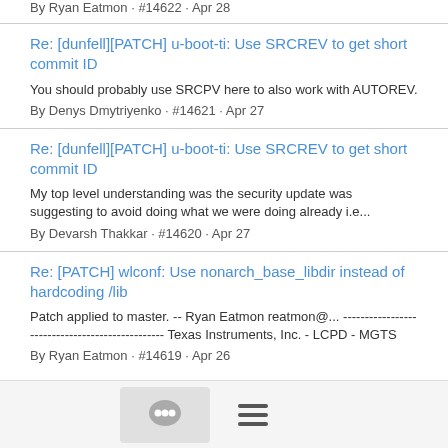By Ryan Eatmon · #14622 · Apr 28
Re: [dunfell][PATCH] u-boot-ti: Use SRCREV to get short commit ID
You should probably use SRCPV here to also work with AUTOREV.
By Denys Dmytriyenko · #14621 · Apr 27
Re: [dunfell][PATCH] u-boot-ti: Use SRCREV to get short commit ID
My top level understanding was the security update was suggesting to avoid doing what we were doing already i.e...
By Devarsh Thakkar · #14620 · Apr 27
Re: [PATCH] wlconf: Use nonarch_base_libdir instead of hardcoding /lib
Patch applied to master. -- Ryan Eatmon reatmon@... ------------------------------------------------ Texas Instruments, Inc. - LCPD - MGTS
By Ryan Eatmon · #14619 · Apr 26
[Figure (other): Bottom navigation bar with chat bubble icon and hamburger menu icon]